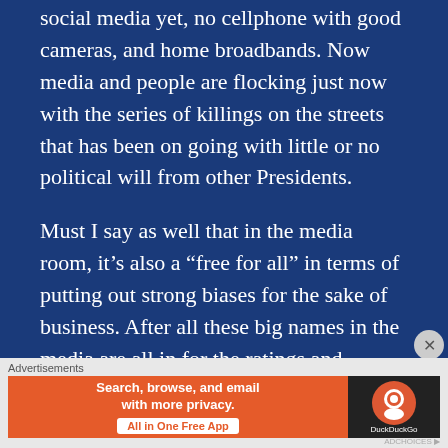social media yet, no cellphone with good cameras, and home broadbands. Now media and people are flocking just now with the series of killings on the streets that has been on going with little or no political will from other Presidents.

Must I say as well that in the media room, it’s also a “free for all” in terms of putting out strong biases for the sake of business. After all these big names in the media are all in for the ratings and money. They will figuratively “kill”
[Figure (other): DuckDuckGo advertisement banner with orange section saying 'Search, browse, and email with more privacy. All in One Free App' and dark section with DuckDuckGo logo]